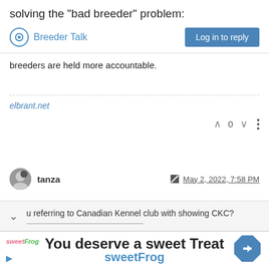solving the "bad breeder" problem:
Breeder Talk
breeders are held more accountable.
elbrant.net
0
tanza   May 2, 2022, 7:58 PM
u referring to Canadian Kennel club with showing CKC?
You deserve a sweet Treat
sweetFrog